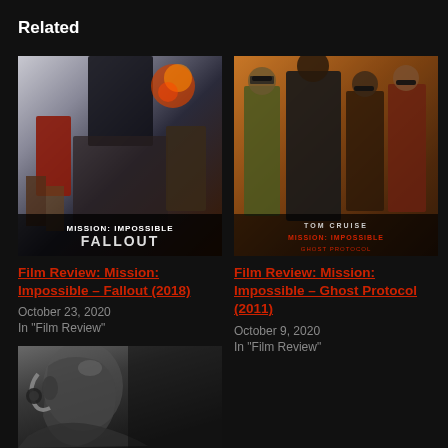Related
[Figure (photo): Movie poster for Mission: Impossible – Fallout (2018), showing characters in dramatic poses with film title text at bottom]
Film Review: Mission: Impossible – Fallout (2018)
October 23, 2020
In "Film Review"
[Figure (photo): Movie poster for Mission: Impossible – Ghost Protocol (2011) with Tom Cruise and cast in amber/orange tones, TOM CRUISE text at bottom]
Film Review: Mission: Impossible – Ghost Protocol (2011)
October 9, 2020
In "Film Review"
[Figure (photo): Black and white movie poster showing a man in profile wearing a headset, partial image at bottom of page]